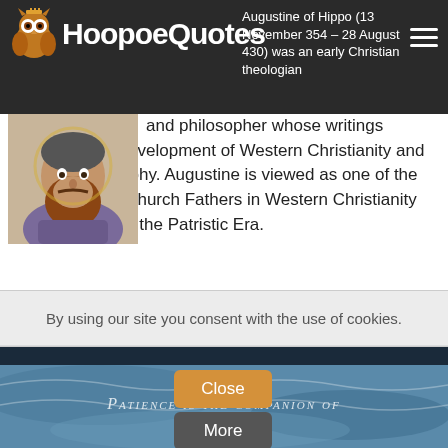HoopoeQuotes — Augustine of Hippo (13 November 354 – 28 August 430) was an early Christian theologian
[Figure (illustration): Illustrated portrait of Saint Augustine of Hippo with beard and religious robes]
Augustine of Hippo (13 November 354 – 28 August 430) was an early Christian theologian and philosopher whose writings influenced the development of Western Christianity and Western philosophy. Augustine is viewed as one of the most important Church Fathers in Western Christianity for his writings in the Patristic Era.
Enjoy the best Saint Augustine picture quotes.
Read more about Saint Augustine on Wikipedia.
By using our site you consent with the use of cookies.
[Figure (photo): Landscape background photo (ocean/nature scene) with quote text overlay: PATIENCE IS THE COMPANION OF WISDOM]
Close
More